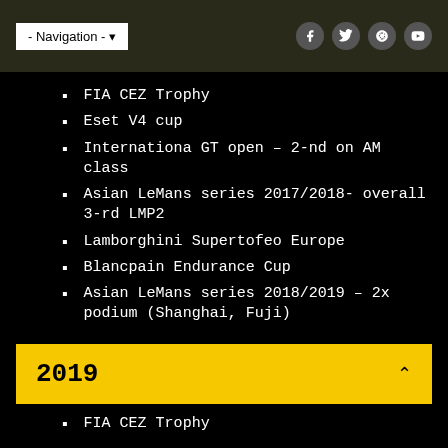- Navigation -
FIA CEZ Trophy
Eset V4 cup
Internationa GT open – 2-nd on AM class
Asian LeMans series 2017/2018- overall 3-rd LMP2
Lamborghini Supertofeo Europe
Blancpain Endurance Cup
Asian LeMans series 2018/2019 – 2x podium (Shanghai, Fuji)
2019
FIA CEZ Trophy